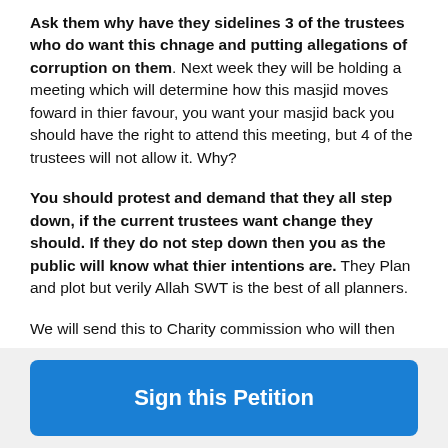Ask them why have they sidelines 3 of the trustees who do want this chnage and putting allegations of corruption on them. Next week they will be holding a meeting which will determine how this masjid moves foward in thier favour, you want your masjid back you should have the right to attend this meeting, but 4 of the trustees will not allow it. Why?
You should protest and demand that they all step down, if the current trustees want change they should. If they do not step down then you as the public will know what thier intentions are. They Plan and plot but verily Allah SWT is the best of all planners.
We will send this to Charity commission who will then
[Figure (other): Blue button with white text reading 'Sign this Petition']